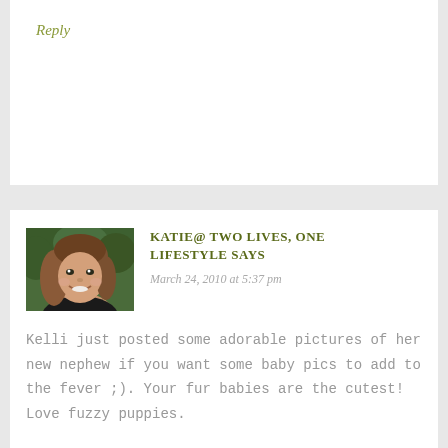Reply
[Figure (photo): Profile photo of Katie, a woman with brown hair smiling, outdoors with greenery background]
KATIE@ TWO LIVES, ONE LIFESTYLE SAYS
March 24, 2010 at 5:37 pm
Kelli just posted some adorable pictures of her new nephew if you want some baby pics to add to the fever ;). Your fur babies are the cutest! Love fuzzy puppies.